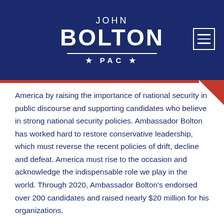[Figure (logo): John Bolton PAC logo with white text on dark navy blue background. Shows 'JOHN' in small caps, 'BOLTON' in large bold text, a white horizontal line, and '★PAC★' below. A hamburger menu icon is in the top right corner. A red accent triangle and red bar appear at the bottom of the header.]
America by raising the importance of national security in public discourse and supporting candidates who believe in strong national security policies. Ambassador Bolton has worked hard to restore conservative leadership, which must reverse the recent policies of drift, decline and defeat. America must rise to the occasion and acknowledge the indispensable role we play in the world. Through 2020, Ambassador Bolton's endorsed over 200 candidates and raised nearly $20 million for his organizations.
.
###
Posted in News, Press Releases, Uncategorized
+ AMBASSADOR JOHN BOLTON